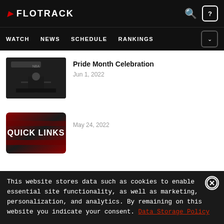FLOTRACK
WATCH NEWS SCHEDULE RANKINGS
[Figure (photo): Black and white photo of a person sitting in what appears to be a gym or studio setting]
Pride Month Celebration
Jun 1, 2022
[Figure (photo): Quick Links thumbnail image with red and black gradient background and bold white text reading QUICK LINKS]
May 24, 2022
This website stores data such as cookies to enable essential site functionality, as well as marketing, personalization, and analytics. By remaining on this website you indicate your consent. Data Storage Policy